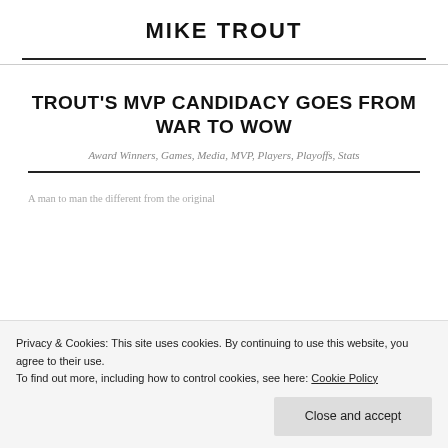MIKE TROUT
TROUT'S MVP CANDIDACY GOES FROM WAR TO WOW
Award Winners, Games, Media, MVP, Players, Playoffs, Stats
Privacy & Cookies: This site uses cookies. By continuing to use this website, you agree to their use. To find out more, including how to control cookies, see here: Cookie Policy
Close and accept